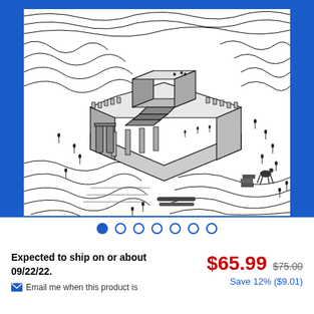[Figure (illustration): Book cover with bright blue background featuring a black-and-white woodcut/engraving style illustration of an ancient temple or palace complex (possibly Solomon's Temple) shown in aerial perspective, with many small figures of people around it, mountains in background]
Expected to ship on or about 09/22/22.
Email me when this product is
$65.99  $75.00  Save 12% ($9.01)